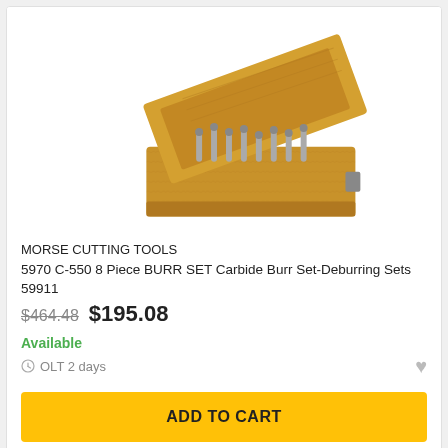[Figure (photo): Wooden box open containing carbide burr set tools (8 piece), photographed from above at an angle]
MORSE CUTTING TOOLS
5970 C-550 8 Piece BURR SET Carbide Burr Set-Deburring Sets
59911
$464.48  $195.08
Available
OLT 2 days
ADD TO CART
[Figure (photo): Wooden box product (second item, partially visible) with 58% OFF badge]
58% OFF